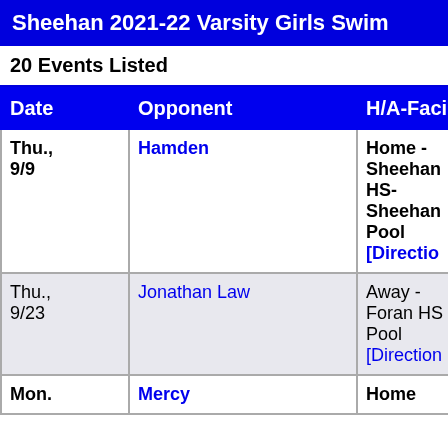Sheehan 2021-22 Varsity Girls Swim
20 Events Listed
| Date | Opponent | H/A-Faci |
| --- | --- | --- |
| Thu., 9/9 | Hamden | Home - Sheehan HS- Sheehan Pool [Directio |
| Thu., 9/23 | Jonathan Law | Away - Foran HS Pool [Direction |
| Mon. | Mercy | Home |